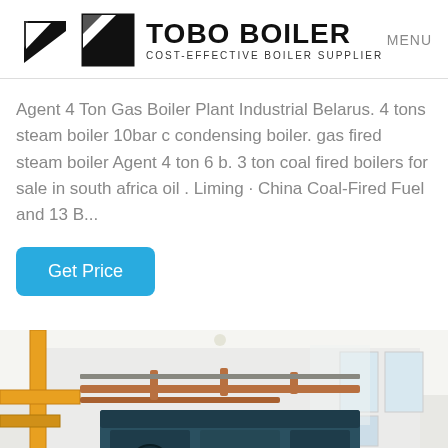TOBO BOILER — COST-EFFECTIVE BOILER SUPPLIER | MENU
Agent 4 Ton Gas Boiler Plant Industrial Belarus. 4 tons steam boiler 10bar c condensing boiler. gas fired steam boiler Agent 4 ton 6 b. 3 ton coal fired boilers for sale in south africa oil . Liming · China Coal-Fired Fuel and 13 B...
Get Price
[Figure (photo): Interior of an industrial boiler facility showing large blue/teal boiler equipment with yellow pipes on the left and copper/metal pipes overhead, inside a white-painted building with windows letting in natural light.]